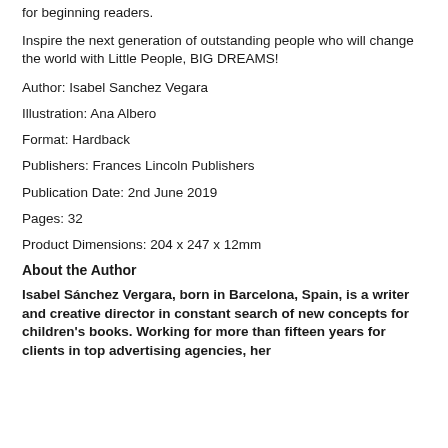for beginning readers.
Inspire the next generation of outstanding people who will change the world with Little People, BIG DREAMS!
Author: Isabel Sanchez Vegara
Illustration: Ana Albero
Format: Hardback
Publishers: Frances Lincoln Publishers
Publication Date: 2nd June 2019
Pages: 32
Product Dimensions: 204 x 247 x 12mm
About the Author
Isabel Sánchez Vergara, born in Barcelona, Spain, is a writer and creative director in constant search of new concepts for children's books. Working for more than fifteen years for clients in top advertising agencies, her